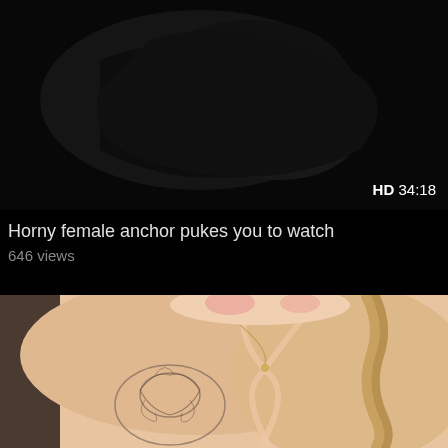[Figure (screenshot): Dark video thumbnail showing a dimly lit scene, nearly black]
HD 34:18
Horny female anchor pukes you to watch
646 views
[Figure (photo): Photo of a young woman with braided hair, wearing a peach/nude strapped outfit, with a floral tattoo visible on her chest]